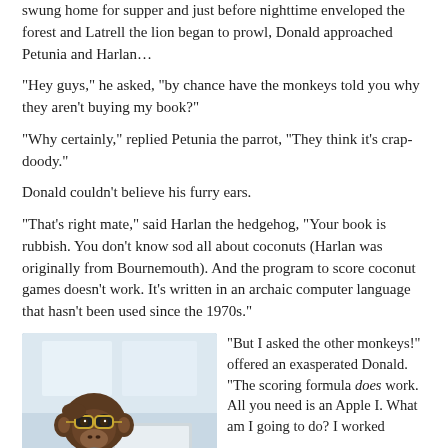swung home for supper and just before nighttime enveloped the forest and Latrell the lion began to prowl, Donald approached Petunia and Harlan…
“Hey guys,” he asked, “by chance have the monkeys told you why they aren’t buying my book?”
“Why certainly,” replied Petunia the parrot, “They think it’s crap-doody.”
Donald couldn’t believe his furry ears.
“That’s right mate,” said Harlan the hedgehog, “Your book is rubbish.  You don’t know sod all about coconuts (Harlan was originally from Bournemouth). And the program to score coconut games doesn’t work. It’s written in an archaic computer language that hasn’t been used since the 1970s.”
[Figure (photo): A chimpanzee wearing glasses sitting at a laptop computer, looking at the camera.]
“But I asked the other monkeys!” offered an exasperated Donald.  “The scoring formula does work. All you need is an Apple I. What am I going to do?  I worked